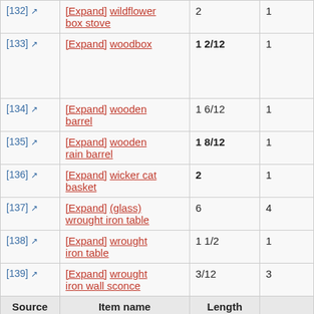| Source | Item name | Length |  |
| --- | --- | --- | --- |
| [132] ↗ | [Expand] wildflower box stove | 2 | 1 |
| [133] ↗ | [Expand] woodbox | 1 2/12 | 1 |
| [134] ↗ | [Expand] wooden barrel | 1 6/12 | 1 |
| [135] ↗ | [Expand] wooden rain barrel | 1 8/12 | 1 |
| [136] ↗ | [Expand] wicker cat basket | 2 | 1 |
| [137] ↗ | [Expand] (glass) wrought iron table | 6 | 4 |
| [138] ↗ | [Expand] wrought iron table | 1 1/2 | 1 |
| [139] ↗ | [Expand] wrought iron wall sconce | 3/12 | 3 |
| Source | Item name | Length |  |
| Kefka's |  | Dimensio |  |